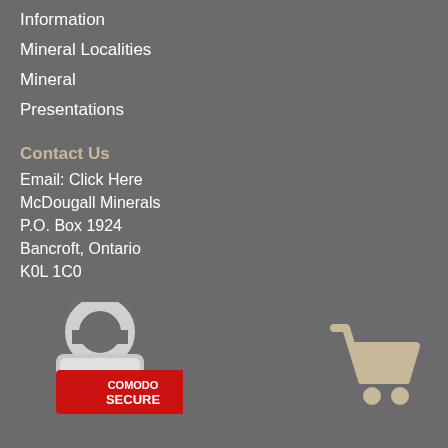Information
Mineral Localities
Mineral
Presentations
Contact Us
Email: Click Here
McDougall Minerals
P.O. Box 1924
Bancroft, Ontario
K0L 1C0
[Figure (logo): Comodo Secure badge with padlock icon and red circular Comodo logo]
[Figure (illustration): Shopping cart icon in tan/beige color]